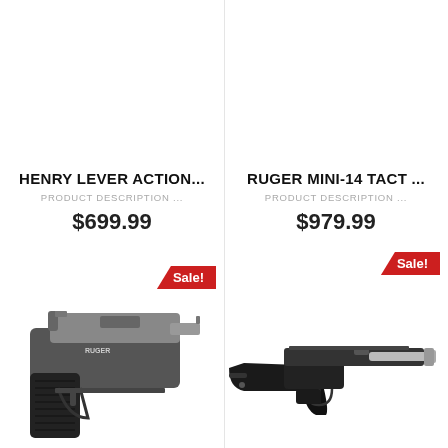HENRY LEVER ACTION...
PRODUCT DESCRIPTION ...
$699.99
[Figure (photo): Ruger semi-automatic pistol, silver and black, side view, with a red Sale! badge in the upper right corner]
RUGER MINI-14 TACT ...
PRODUCT DESCRIPTION ...
$979.99
[Figure (photo): Ruger 10/22 rifle, black stock with silver barrel, side view, with a red Sale! badge in the upper right corner]